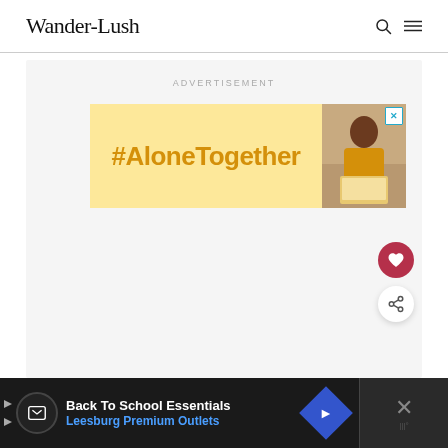Wander-Lush
ADVERTISEMENT
[Figure (screenshot): #AloneTogether advertisement banner with yellow background and a photo of a woman working at a laptop]
[Figure (other): Bottom advertisement bar: Back To School Essentials - Leesburg Premium Outlets, with navigation icons and close button]